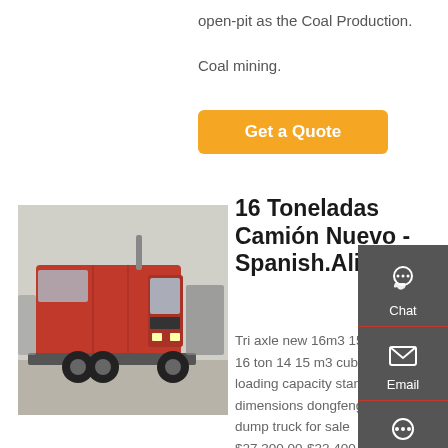open-pit as the Coal Production. Coal mining.
Get a Quote
[Figure (photo): Red HOWO semi-truck / tractor cab parked in a lot with other trucks]
16 Toneladas Camión Nuevo - Spanish.Alibaba.Com
Tri axle new 16m3 15m3 14... 16 ton 14 15 m3 cubic meter loading capacity standard dimensions dongfeng tipper dump truck for sale $27,300.00-$32,400.00 / Unit 1 Unit (Min. Order)
Chat
Email
Contact
Top